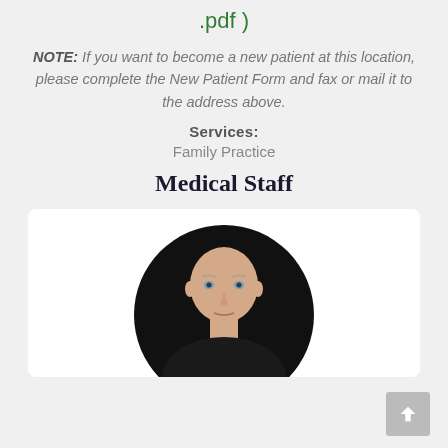.pdf )
NOTE: If you want to become a new patient at this location, please complete the New Patient Form and fax or mail it to the address above.
Services:
Family Practice
Medical Staff
[Figure (photo): Circular portrait photo of a bald middle-aged man in dark clothing against a black background, shown from mid-chest up, displayed in a white card with rounded corners.]